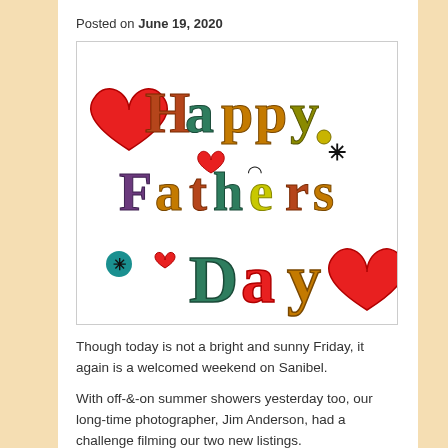Posted on June 19, 2020
[Figure (illustration): Colorful decorative 'Happy Fathers Day' text greeting image with hearts, stars, polka dots, and festive lettering in red, teal, orange, yellow, and dark colors on white background]
Though today is not a bright and sunny Friday, it again is a welcomed weekend on Sanibel.
With off-&-on summer showers yesterday too, our long-time photographer, Jim Anderson, had a challenge filming our two new listings.